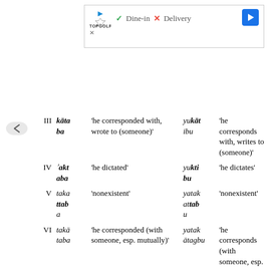[Figure (screenshot): Ad banner for Topgolf showing Dine-in checkmark and Delivery X mark with navigation arrow]
| Form | Past | Gloss | Present | Gloss |
| --- | --- | --- | --- | --- |
| III | kātaba | 'he corresponded with, wrote to (someone)' | yukātibu | 'he corresponds with, writes to (someone)' |
| IV | 'aktaba | 'he dictated' | yuktibu | 'he dictates' |
| V | takattaba | 'nonexistent' | yatakattabu | 'nonexistent' |
| VI | takātaba | 'he corresponded (with someone, esp. mutually)' | yatakātabu | 'he corresponds (with someone, esp. mutually)' |
| VII | inkataba | 'he subscribed' | yankatibu | 'he subscribes' |
| VIII | iktataba | 'he copied' | yaktatibu | 'he copies' |
| IX | iḥm... | 'he turned red' | yaḥm... | 'he turns red' |